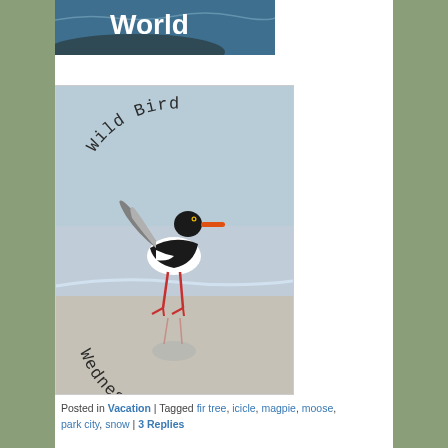[Figure (photo): Partial view of an ocean/sea photo with white bold text reading 'World' overlaid on it]
[Figure (photo): A shorebird (oystercatcher) standing on wet sand with its reflection visible, with arched text 'Wild Bird' at top and 'Wednesday' at bottom in a dark handwritten-style font]
Posted in Vacation | Tagged fir tree, icicle, magpie, moose, park city, snow | 3 Replies
Snow in the middle of nowhere